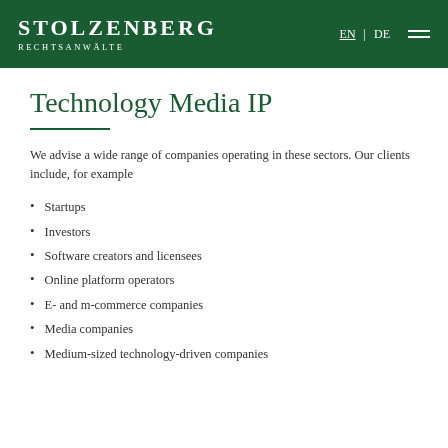STOLZENBERG RECHTSANWÄLTE | EN | DE
Technology Media IP
We advise a wide range of companies operating in these sectors. Our clients include, for example
Startups
Investors
Software creators and licensees
Online platform operators
E- and m-commerce companies
Media companies
Medium-sized technology-driven companies